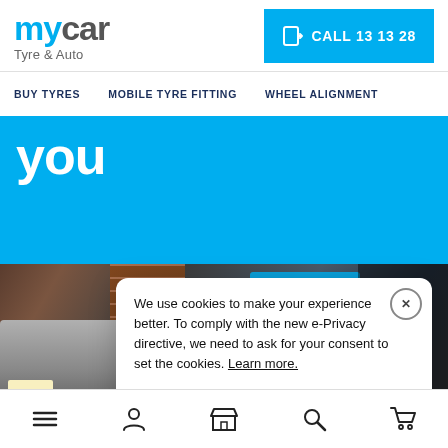[Figure (logo): mycar Tyre & Auto logo - 'my' in blue, 'car' in grey, subtitle 'Tyre & Auto' in grey]
[Figure (other): Cyan call-to-action button with phone icon: CALL 13 13 28]
BUY TYRES   MOBILE TYRE FITTING   WHEEL ALIGNMENT
you
[Figure (photo): Photo of car service centre with vehicles, brick wall, and garage]
We use cookies to make your experience better. To comply with the new e-Privacy directive, we need to ask for your consent to set the cookies. Learn more.
ACCEPT & CLOSE
Navigation icons: menu, person, store, search, cart